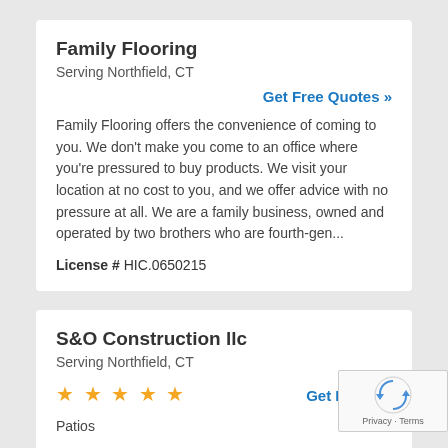Family Flooring
Serving Northfield, CT
Get Free Quotes »
Family Flooring offers the convenience of coming to you. We don't make you come to an office where you're pressured to buy products. We visit your location at no cost to you, and we offer advice with no pressure at all. We are a family business, owned and operated by two brothers who are fourth-gen...
License # HIC.0650215
S&O Construction llc
Serving Northfield, CT
Get Free Qu»
Patios